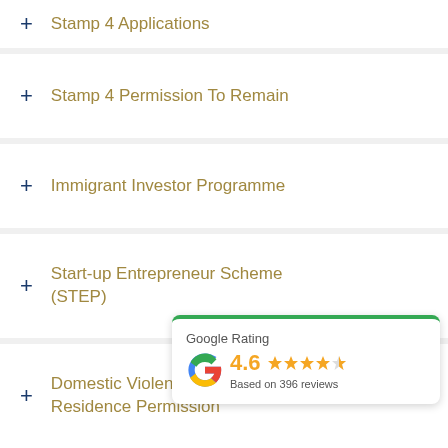Stamp 4 Applications (partial, top)
Stamp 4 Permission To Remain
Immigrant Investor Programme
Start-up Entrepreneur Scheme (STEP)
Domestic Violence Independent Residence Permission
Change of I... (partial)
Other Immigration Permissions (partial, bottom)
[Figure (infographic): Google Rating widget showing 4.6 stars based on 396 reviews, with Google G logo and green top border]